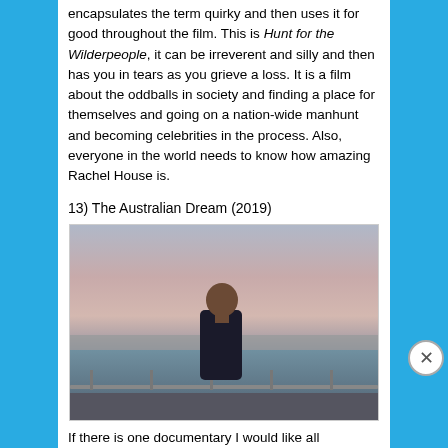encapsulates the term quirky and then uses it for good throughout the film. This is Hunt for the Wilderpeople, it can be irreverent and silly and then has you in tears as you grieve a loss. It is a film about the oddballs in society and finding a place for themselves and going on a nation-wide manhunt and becoming celebrities in the process. Also, everyone in the world needs to know how amazing Rachel House is.
13) The Australian Dream (2019)
[Figure (photo): A man standing on a balcony or railing overlooking a harbor/bay with a city in the background, under a pink-purple dusk sky.]
If there is one documentary I would like all Australians to
Advertisements
[Figure (other): Macy's advertisement banner: KISS BORING LIPS GOODBYE with SHOP NOW button and Macy's logo with star.]